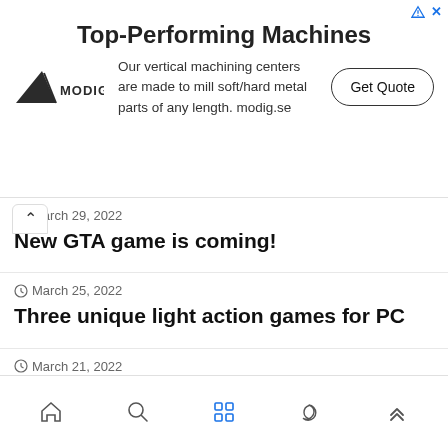[Figure (infographic): Modig advertisement banner: Top-Performing Machines. Our vertical machining centers are made to mill soft/hard metal parts of any length. modig.se. Get Quote button.]
March 29, 2022 — New GTA game is coming!
March 25, 2022 — Three unique light action games for PC
March 21, 2022 — Activision's buried and forgotten gems we hope Xbox will revive again
Home | Search | Apps | Dark mode | Up